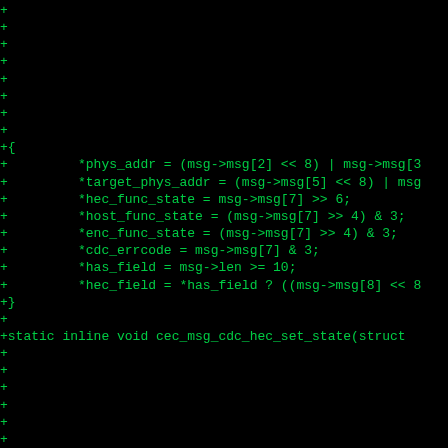Code diff showing C function cec_msg_cdc_hec_set_state with lines prefixed by + indicating additions, showing struct member assignments for phys_addr, target_phys_addr, hec_func_state, host_func_state, enc_func_state, cdc_errcode, has_field, hec_field, and a new static inline void function cec_msg_cdc_hec_set_state with parameters __u16 p, __u8 he, and msg->len, msg->msg assignments